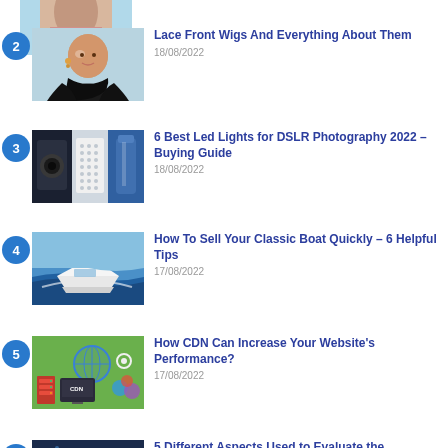Lace Front Wigs And Everything About Them | 18/08/2022
6 Best Led Lights for DSLR Photography 2022 – Buying Guide | 18/08/2022
How To Sell Your Classic Boat Quickly – 6 Helpful Tips | 17/08/2022
How CDN Can Increase Your Website's Performance? | 17/08/2022
5 Different Aspects Used to Evaluate the Performance of Medical Students | 16/08/2022